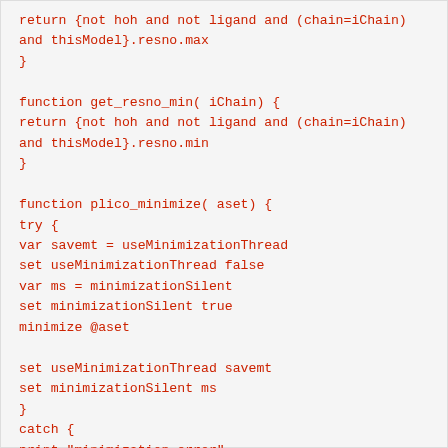return {not hoh and not ligand and (chain=iChain)
and thisModel}.resno.max
}

function get_resno_min( iChain) {
return {not hoh and not ligand and (chain=iChain)
and thisModel}.resno.min
}

function plico_minimize( aset) {
try {
var savemt = useMinimizationThread
set useMinimizationThread false
var ms = minimizationSilent
set minimizationSilent true
minimize @aset

set useMinimizationThread savemt
set minimizationSilent ms
}
catch {
print "minimization error"
}
}

function p(s) {